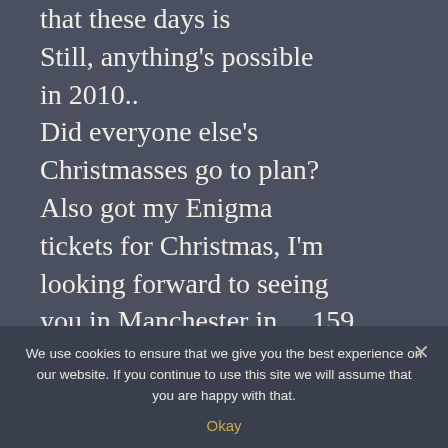that these days is Still, anything's possible in 2010.. Did everyone else's Christmasses go to plan? Also got my Enigma tickets for Christmas, I'm looking forward to seeing you in Manchester in… 159 days 😀 Your book has inspired me to start my Christmas li...
We use cookies to ensure that we give you the best experience on our website. If you continue to use this site we will assume that you are happy with that.
Okay